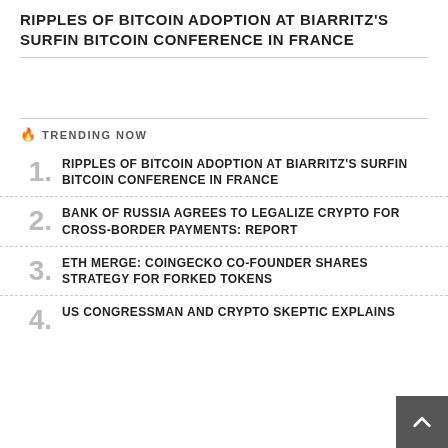RIPPLES OF BITCOIN ADOPTION AT BIARRITZ'S SURFIN BITCOIN CONFERENCE IN FRANCE
🔥 TRENDING NOW
1. RIPPLES OF BITCOIN ADOPTION AT BIARRITZ'S SURFIN BITCOIN CONFERENCE IN FRANCE
2. BANK OF RUSSIA AGREES TO LEGALIZE CRYPTO FOR CROSS-BORDER PAYMENTS: REPORT
3. ETH MERGE: COINGECKO CO-FOUNDER SHARES STRATEGY FOR FORKED TOKENS
4. US CONGRESSMAN AND CRYPTO SKEPTIC EXPLAINS